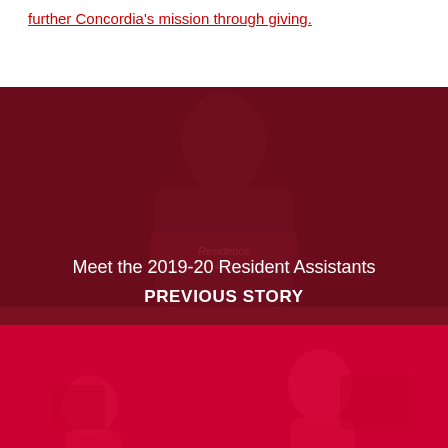further Concordia's mission through giving.
[Figure (photo): Dark red tinted photo of a smiling student wearing a Residence Life shirt, used as background for previous story navigation block.]
Meet the 2019-20 Resident Assistants
PREVIOUS STORY
[Figure (photo): Red tinted photo of students at a sports camp activity, used as background for next story navigation block.]
Registration open for Cardinals summer sports camps
NEXT STORY